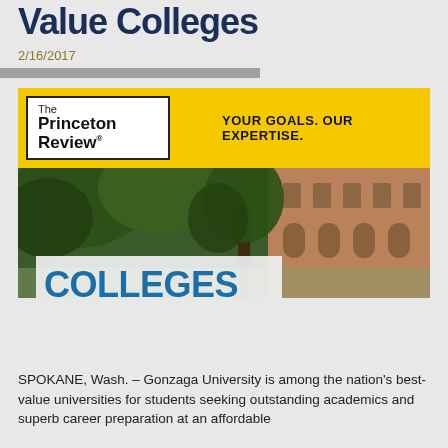Value Colleges
2/16/2017
[Figure (photo): Princeton Review advertisement banner with yellow background showing logo and tagline 'YOUR GOALS. OUR EXPERTISE.' alongside a campus photo with trees and brick building, overlaid with text 'COLLEGES THAT PAY YOU BACK']
SPOKANE, Wash. – Gonzaga University is among the nation's best-value universities for students seeking outstanding academics and superb career preparation at an affordable